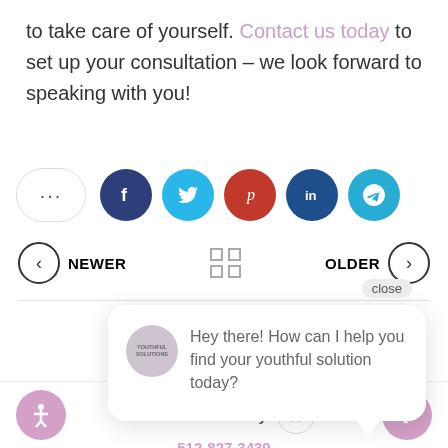to take care of yourself. Contact us today to set up your consultation – we look forward to speaking with you!
[Figure (infographic): Row of social share buttons: more (...), Facebook, Twitter, Pinterest, LinkedIn, Telegram]
< NEWER  [grid icon]  OLDER >
[Figure (screenshot): Chat popup with avatar saying 'Hey there! How can I help you find your youthful solution today?' with close button]
Start Your Journey  ^
512-827-3439